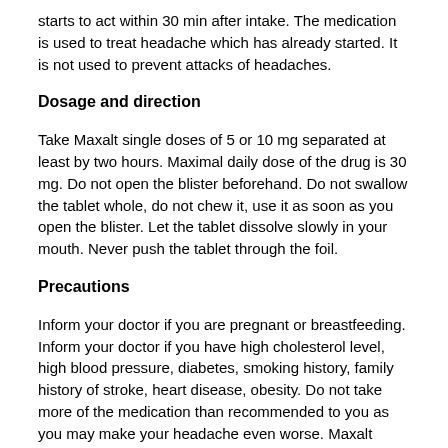starts to act within 30 min after intake. The medication is used to treat headache which has already started. It is not used to prevent attacks of headaches.
Dosage and direction
Take Maxalt single doses of 5 or 10 mg separated at least by two hours. Maximal daily dose of the drug is 30 mg. Do not open the blister beforehand. Do not swallow the tablet whole, do not chew it, use it as soon as you open the blister. Let the tablet dissolve slowly in your mouth. Never push the tablet through the foil.
Precautions
Inform your doctor if you are pregnant or breastfeeding. Inform your doctor if you have high cholesterol level, high blood pressure, diabetes, smoking history, family history of stroke, heart disease, obesity. Do not take more of the medication than recommended to you as you may make your headache even worse. Maxalt tablets may contain phenylalanine and should be used with cautiousness by the patients with phenylketonuria.
Contraindications
Maxalt cannot be administered to the patients with hypersensitivity to the drug and its components, in individuals treated with MAO inhibitors, those who have hypertension, coronary insufficiency, myocardial infarction...